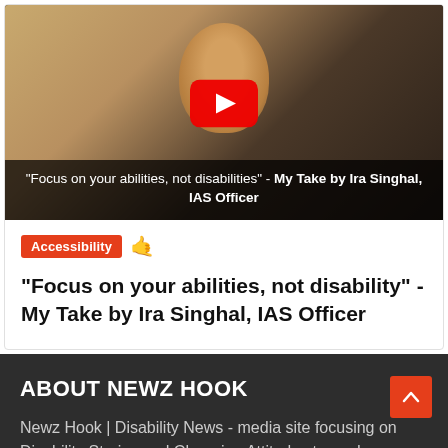[Figure (screenshot): YouTube video thumbnail showing a woman with dark hair and red lipstick on a golden/yellow background, with a YouTube play button overlay, and a dark overlay at the bottom containing the video title text: '"Focus on your abilities, not disabilities" - My Take by Ira Singhal, IAS Officer']
Accessibility 🤙
"Focus on your abilities, not disability" - My Take by Ira Singhal, IAS Officer
ABOUT NEWZ HOOK
Newz Hook | Disability News - media site focusing on Disability Stories and Changing Attitudes towards Disability